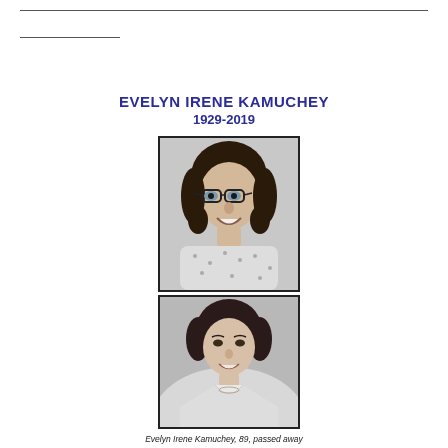EVELYN IRENE KAMUCHEY
1929-2019
[Figure (photo): Black and white portrait photo of an older woman with short dark hair wearing glasses and a patterned blouse, smiling]
[Figure (photo): Black and white portrait photo of a younger woman with short dark hair, smiling, wearing a collared top]
Evelyn Irene Kamuchey, 89, passed away on May 10, 2019 in Austin, Texas